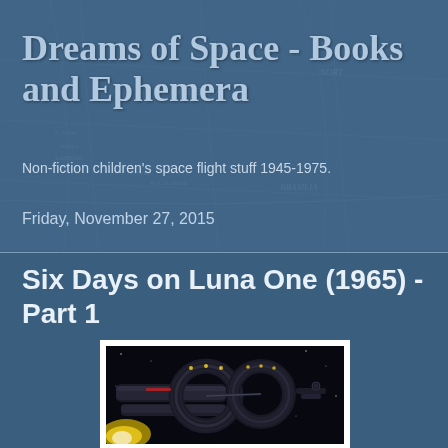Dreams of Space - Books and Ephemera
Non-fiction children's space flight stuff 1945-1975.
Friday, November 27, 2015
Six Days on Luna One (1965) -Part 1
[Figure (illustration): Cover image of a science fiction book showing a space vehicle or lunar craft with circular ring structures against a dark space background, rendered in dark tones with yellow and red accents.]